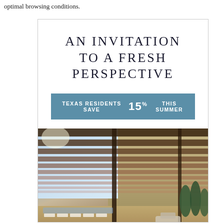optimal browsing conditions.
AN INVITATION TO A FRESH PERSPECTIVE
TEXAS RESIDENTS SAVE 15% THIS SUMMER
[Figure (photo): Luxury resort outdoor area with wooden pergola slats overhead, pool with lounge chairs, blue sky, and lush trees in background]